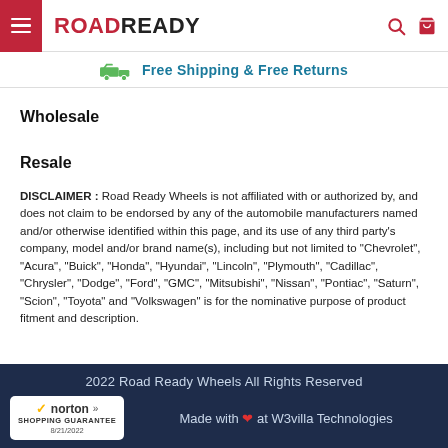ROADREADY
Free Shipping & Free Returns
Wholesale
Resale
DISCLAIMER : Road Ready Wheels is not affiliated with or authorized by, and does not claim to be endorsed by any of the automobile manufacturers named and/or otherwise identified within this page, and its use of any third party’s company, model and/or brand name(s), including but not limited to “Chevrolet”, “Acura”, “Buick”, “Honda”, “Hyundai”, “Lincoln”, “Plymouth”, “Cadillac”, “Chrysler”, “Dodge”, “Ford”, “GMC”, “Mitsubishi”, “Nissan”, “Pontiac”, “Saturn”, “Scion”, “Toyota” and “Volkswagen” is for the nominative purpose of product fitment and description.
2022 Road Ready Wheels All Rights Reserved
Made with ❤ at W3villa Technologies